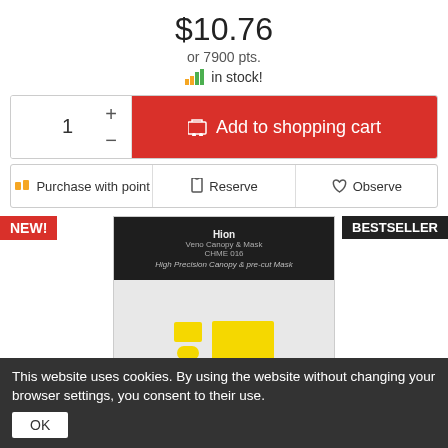$10.76
or 7900 pts.
in stock!
1
Add to shopping cart
Purchase with point
Reserve
Observe
[Figure (photo): Product photo showing Ki-61 Id Vacy Canopy & Mask kit with yellow parts and clear canopy pieces on white background with dark header]
Ki 61 Id Vacy Canopy & Mask
This website uses cookies. By using the website without changing your browser settings, you consent to their use.